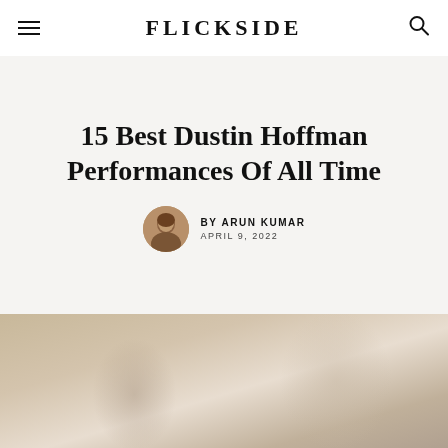FLICKSIDE
15 Best Dustin Hoffman Performances Of All Time
BY ARUN KUMAR
APRIL 9, 2022
[Figure (photo): Bottom portion of article page showing a blurred/faded photograph, likely of Dustin Hoffman]